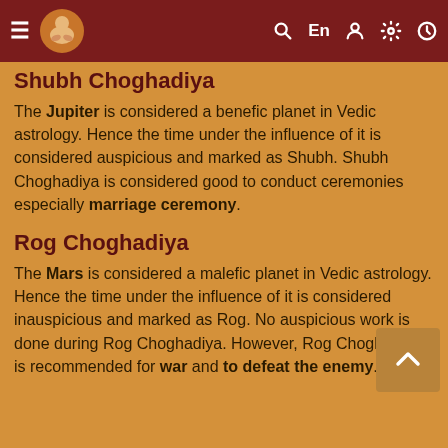Navigation bar with menu, logo, search, language (En), user, settings, and clock icons
Shubh Choghadiya
The Jupiter is considered a benefic planet in Vedic astrology. Hence the time under the influence of it is considered auspicious and marked as Shubh. Shubh Choghadiya is considered good to conduct ceremonies especially marriage ceremony.
Rog Choghadiya
The Mars is considered a malefic planet in Vedic astrology. Hence the time under the influence of it is considered inauspicious and marked as Rog. No auspicious work is done during Rog Choghadiya. However, Rog Choghadiya is recommended for war and to defeat the enemy.